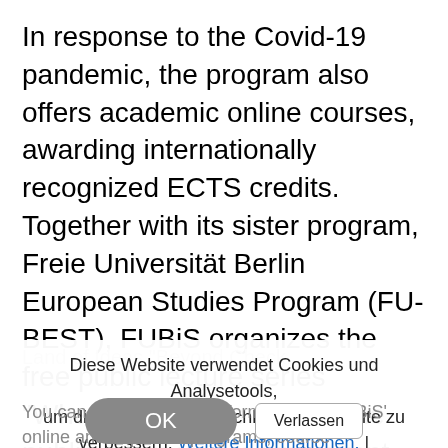In response to the Covid-19 pandemic, the program also offers academic online courses, awarding internationally recognized ECTS credits. Together with its sister program, Freie Universität Berlin European Studies Program (FU-BEST), FUBiS organizes the free public lecture series "What's Next?" as well as the public interactive online event series ÜBerlin Talks," where a panel of internationally acclaimed experts discusses societal issues. The online courses offered by FU-BEST and FUBiS were recognized in 2020 by the initiative "Germany
Diese Website verwendet Cookies und Analysetools, um die Benutzerfreundlichkeit der Website zu verbessern. Weitere Informationen. |
You can find up-to-date information on FUBiS' online and in-person programs, course catalogue, on our FUBiS...